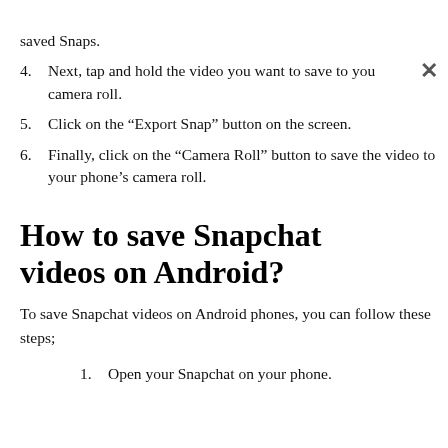saved Snaps.
4. Next, tap and hold the video you want to save to your camera roll.
5. Click on the “Export Snap” button on the screen.
6. Finally, click on the “Camera Roll” button to save the video to your phone’s camera roll.
How to save Snapchat videos on Android?
To save Snapchat videos on Android phones, you can follow these steps;
1. Open your Snapchat on your phone.